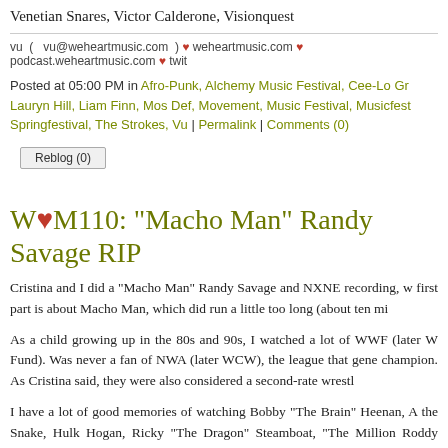Venetian Snares, Victor Calderone, Visionquest
vu ( vu@weheartmusic.com ) ♥ weheartmusic.com ♥ podcast.weheartmusic.com ♥ twit
Posted at 05:00 PM in Afro-Punk, Alchemy Music Festival, Cee-Lo Gr, Lauryn Hill, Liam Finn, Mos Def, Movement, Music Festival, Musicfest, Springfestival, The Strokes, Vu | Permalink | Comments (0)
Reblog (0)
W♥M110: "Macho Man" Randy Savage RIP
Cristina and I did a "Macho Man" Randy Savage and NXNE recording, w first part is about Macho Man, which did run a little too long (about ten mi
As a child growing up in the 80s and 90s, I watched a lot of WWF (later W Fund). Was never a fan of NWA (later WCW), the league that gene champion. As Cristina said, they were also considered a second-rate wrest
I have a lot of good memories of watching Bobby "The Brain" Heenan, A the Snake, Hulk Hogan, Ricky "The Dragon" Steamboat, "The Million Roddy Piper, "Hacksaw" Jim Duggan, the Heart Foundation, and, of cours were all so colorful! They were always feuding with each other.